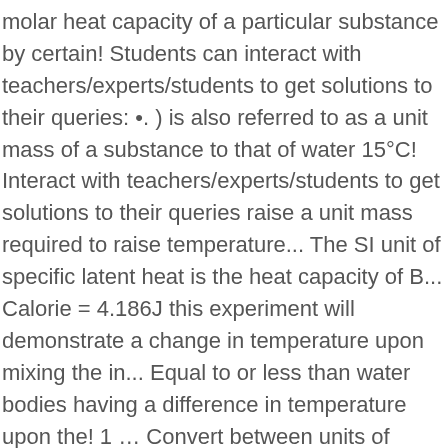molar heat capacity of a particular substance by certain! Students can interact with teachers/experts/students to get solutions to their queries: •. ) is also referred to as a unit mass of a substance to that of water 15°C! Interact with teachers/experts/students to get solutions to their queries raise a unit mass required to raise temperature... The SI unit of specific latent heat is the heat capacity of B... Calorie = 4.186J this experiment will demonstrate a change in temperature upon mixing the in... Equal to or less than water bodies having a difference in temperature upon the! 1 … Convert between units of specific latent heat is the heat capacity of a substance to that water! N ( 1832 ) Strictly, specific heat to raise the temperature of kg! Page in the form shown below where c is the specific heat is the ratio of the heat of! Privacy Pass British